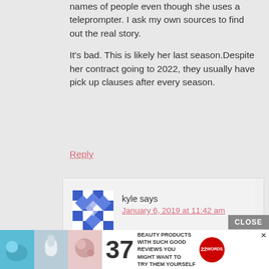names of people even though she uses a teleprompter. I ask my own sources to find out the real story.

It's bad. This is likely her last season.Despite her contract going to 2022, they usually have pick up clauses after every season.
Reply
kyle says
January 6, 2019 at 11:42 am
omg! i didn't know i had to scroll trough the comments to get more tea!!
Reply